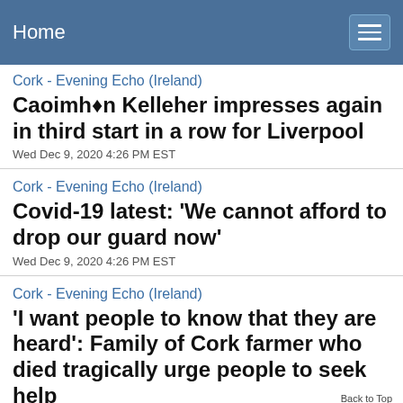Home
Cork - Evening Echo (Ireland)
Caoimhén Kelleher impresses again in third start in a row for Liverpool
Wed Dec 9, 2020 4:26 PM EST
Cork - Evening Echo (Ireland)
Covid-19 latest: 'We cannot afford to drop our guard now'
Wed Dec 9, 2020 4:26 PM EST
Cork - Evening Echo (Ireland)
'I want people to know that they are heard': Family of Cork farmer who died tragically urge people to seek help